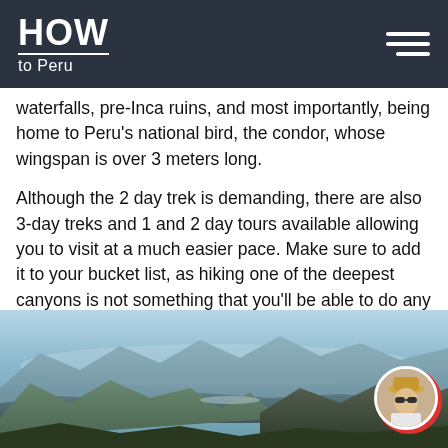HOW to Peru
waterfalls, pre-Inca ruins, and most importantly, being home to Peru's national bird, the condor, whose wingspan is over 3 meters long.
Although the 2 day trek is demanding, there are also 3-day treks and 1 and 2 day tours available allowing you to visit at a much easier pace. Make sure to add it to your bucket list, as hiking one of the deepest canyons is not something that you'll be able to do any other day.
Check out the best Inca Trail options!
[Figure (photo): Aerial panoramic view of a deep canyon with mountains, valleys, hazy blue sky, and a small avatar of a person wearing a hat in the bottom-right corner.]